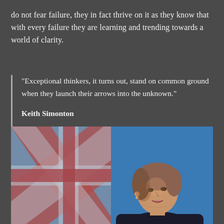do not fear failure, they in fact thrive on it as they know that with every failure they are learning and trending towards a world of clarity.
“Exceptional thinkers, it turns out, stand on common ground when they launch their arrows into the unknown.”

Keith Simonton
[Figure (photo): A woman speaking at a podium in front of a blurred Union Jack (British flag) background with a blue stage backdrop. The image appears to be a vintage political photograph.]